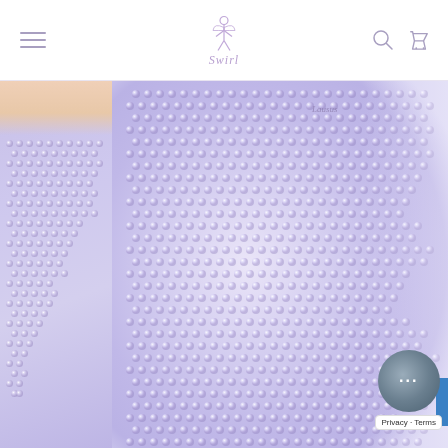Swirl — navigation header with logo, hamburger menu, search and cart icons
[Figure (photo): Close-up product photo of rhinestone-covered knee-high boots in lavender/iridescent color against a white background. Left edge shows partial boot, center shows main boot with dense crystal/rhinestone grid texture, slight brand label visible near top.]
Privacy · Terms